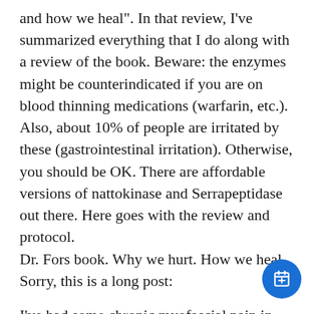and how we heal". In that review, I've summarized everything that I do along with a review of the book. Beware: the enzymes might be counterindicated if you are on blood thinning medications (warfarin, etc.). Also, about 10% of people are irritated by these (gastrointestinal irritation). Otherwise, you should be OK. There are affordable versions of nattokinase and Serrapeptidase out there. Here goes with the review and protocol.
Dr. Fors book. Why we hurt. How we heal. Sorry, this is a long post:
I've had some chronic myofascial pain in glutes and legs and I've found essentially